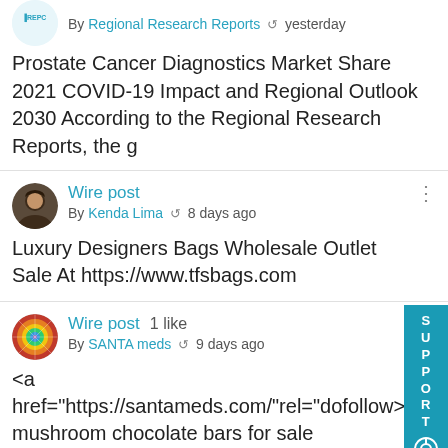By Regional Research Reports · yesterday
Prostate Cancer Diagnostics Market Share 2021 COVID-19 Impact and Regional Outlook 2030 According to the Regional Research Reports, the g
Wire post
By Kenda Lima · 8 days ago
Luxury Designers Bags Wholesale Outlet Sale At https://www.tfsbags.com
Wire post
1 like · By SANTA meds · 9 days ago
<a href="https://santameds.com/"rel="dofollow">psychedelic mushroom chocolate bars for sale california</a> <a